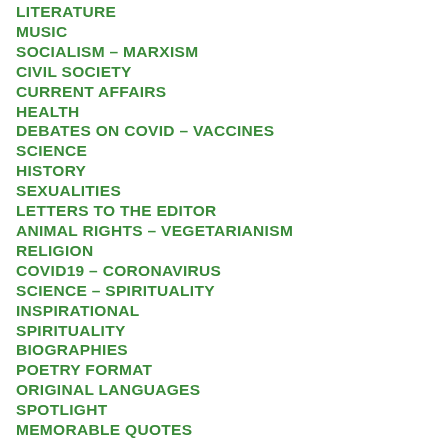LITERATURE
MUSIC
SOCIALISM – MARXISM
CIVIL SOCIETY
CURRENT AFFAIRS
HEALTH
DEBATES ON COVID – VACCINES
SCIENCE
HISTORY
SEXUALITIES
LETTERS TO THE EDITOR
ANIMAL RIGHTS – VEGETARIANISM
RELIGION
COVID19 – CORONAVIRUS
SCIENCE – SPIRITUALITY
INSPIRATIONAL
SPIRITUALITY
BIOGRAPHIES
POETRY FORMAT
ORIGINAL LANGUAGES
SPOTLIGHT
MEMORABLE QUOTES